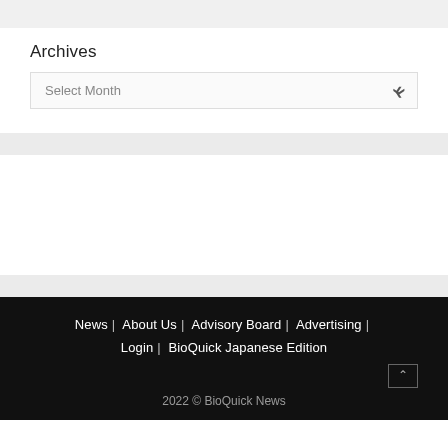Archives
Select Month
News | About Us | Advisory Board | Advertising | Login | BioQuick Japanese Edition
2022 © BioQuick News